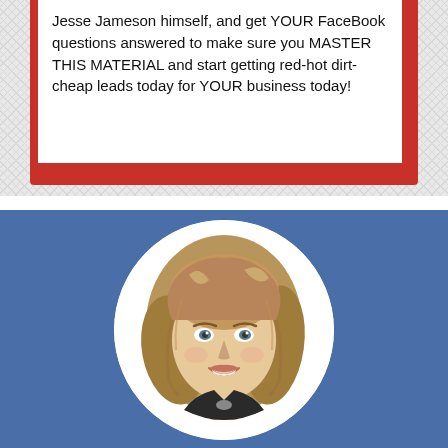Jesse Jameson himself, and get YOUR FaceBook questions answered to make sure you MASTER THIS MATERIAL and start getting red-hot dirt-cheap leads today for YOUR business today!
[Figure (photo): Circular portrait photo of a smiling woman with wavy blonde hair, wearing a dark top, on a blue background]